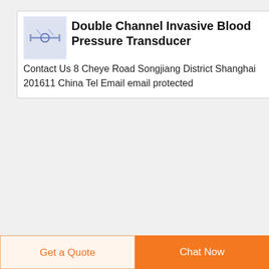[Figure (photo): Small product photo of a double channel invasive blood pressure transducer device]
Double Channel Invasive Blood Pressure Transducer
Contact Us 8 Cheye Road Songjiang District Shanghai 201611 China Tel Email email protected
[Figure (photo): Small product photo of anesthesia machine with invasive BP monitoring waveform]
Technical Specifications of Anesthesia Machine With
Invasive BP Should have 2
Get a Quote
Chat Now